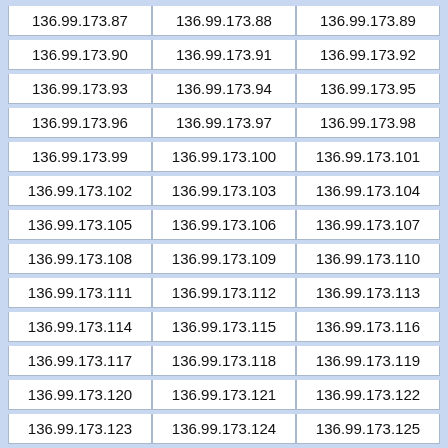| 136.99.173.87 | 136.99.173.88 | 136.99.173.89 |
| 136.99.173.90 | 136.99.173.91 | 136.99.173.92 |
| 136.99.173.93 | 136.99.173.94 | 136.99.173.95 |
| 136.99.173.96 | 136.99.173.97 | 136.99.173.98 |
| 136.99.173.99 | 136.99.173.100 | 136.99.173.101 |
| 136.99.173.102 | 136.99.173.103 | 136.99.173.104 |
| 136.99.173.105 | 136.99.173.106 | 136.99.173.107 |
| 136.99.173.108 | 136.99.173.109 | 136.99.173.110 |
| 136.99.173.111 | 136.99.173.112 | 136.99.173.113 |
| 136.99.173.114 | 136.99.173.115 | 136.99.173.116 |
| 136.99.173.117 | 136.99.173.118 | 136.99.173.119 |
| 136.99.173.120 | 136.99.173.121 | 136.99.173.122 |
| 136.99.173.123 | 136.99.173.124 | 136.99.173.125 |